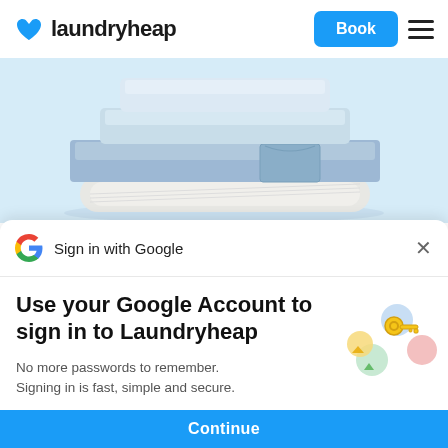[Figure (logo): Laundryheap logo with blue heart icon and bold 'laundryheap' text]
[Figure (screenshot): Blue 'Book' button and hamburger menu icon in header]
[Figure (photo): Stack of neatly folded blue jeans and white clothing on a light blue background]
[Figure (logo): Google 'G' multicolor logo]
Sign in with Google
Use your Google Account to sign in to Laundryheap
No more passwords to remember. Signing in is fast, simple and secure.
[Figure (illustration): Google passkey/key illustration with colorful circles and a golden key]
Continue